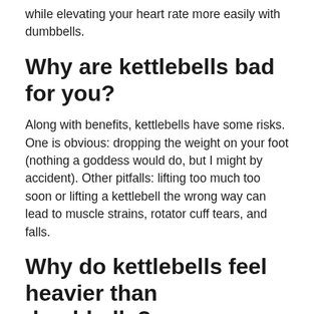while elevating your heart rate more easily with dumbbells.
Why are kettlebells bad for you?
Along with benefits, kettlebells have some risks. One is obvious: dropping the weight on your foot (nothing a goddess would do, but I might by accident). Other pitfalls: lifting too much too soon or lifting a kettlebell the wrong way can lead to muscle strains, rotator cuff tears, and falls.
Why do kettlebells feel heavier than dumbbells?
The reason a kettlebell has this is b...